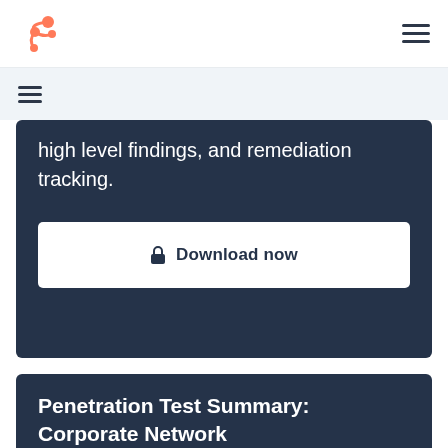HubSpot logo and navigation menu
high level findings, and remediation tracking.
Download now
Penetration Test Summary: Corporate Network